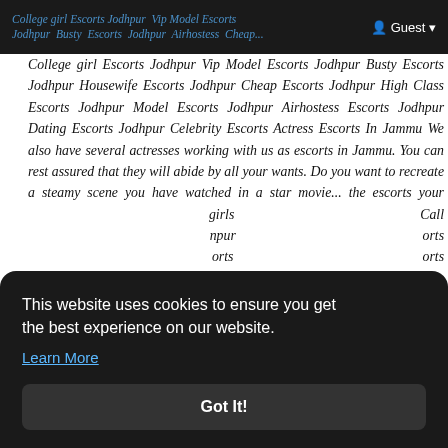College girl Escorts Jodhpur Vip Model Escorts Jodhpur Busty Escorts Jodhpur | Guest
College girl Escorts Jodhpur Vip Model Escorts Jodhpur Busty Escorts Jodhpur Housewife Escorts Jodhpur Cheap Escorts Jodhpur High Class Escorts Jodhpur Model Escorts Jodhpur Airhostess Escorts Jodhpur Dating Escorts Jodhpur Celebrity Escorts Actress Escorts In Jammu We also have several actresses working with us as escorts in Jammu. You can rest assured that they will abide by all your wants. Do you want to recreate a steamy scene you have watched in a star movie... the escorts your girls Call Jodhpur orts orts orts orts Jodhpur Airhostess Escorts Jodhpur Dating Escorts
This website uses cookies to ensure you get the best experience on our website.
Learn More
Got It!